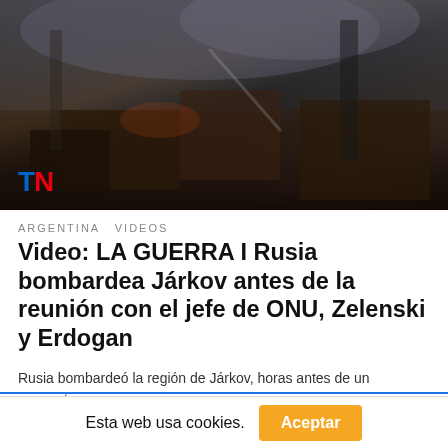[Figure (photo): Firefighters working through rubble and smoke at a bombed building in Kharkiv, with a TN (Todo Noticias) logo overlay in the bottom left.]
ARGENTINA  VIDEOS
Video: LA GUERRA I Rusia bombardea Járkov antes de la reunión con el jefe de ONU, Zelenski y Erdogan
Rusia bombardeó la región de Járkov, horas antes de un encuentro
Esta web usa cookies.  Aceptar
[Figure (infographic): Social share bar with Twitter, Mail, Pinterest, LinkedIn, WhatsApp, and LINE buttons.]